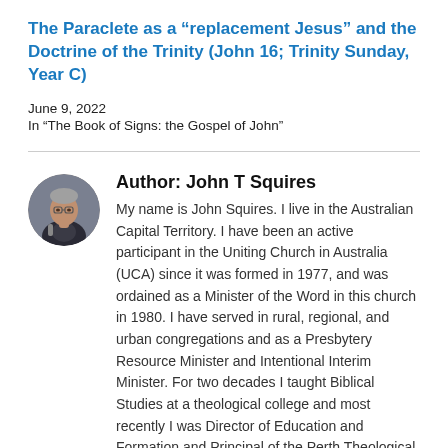The Paraclete as a “replacement Jesus” and the Doctrine of the Trinity (John 16; Trinity Sunday, Year C)
June 9, 2022
In “The Book of Signs: the Gospel of John”
Author: John T Squires
My name is John Squires. I live in the Australian Capital Territory. I have been an active participant in the Uniting Church in Australia (UCA) since it was formed in 1977, and was ordained as a Minister of the Word in this church in 1980. I have served in rural, regional, and urban congregations and as a Presbytery Resource Minister and Intentional Interim Minister. For two decades I taught Biblical Studies at a theological college and most recently I was Director of Education and Formation and Principal of the Perth Theological Hall. I’ve studied the scriptures in depth; I hold a number of degrees, including a PhD in early